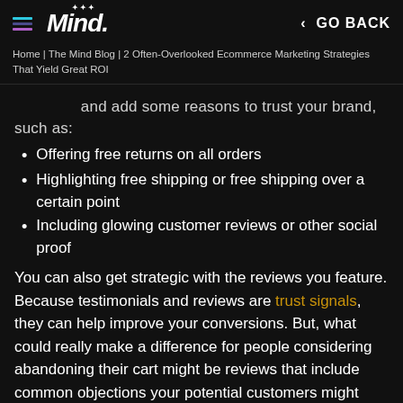Mind. | GO BACK
Home | The Mind Blog | 2 Often-Overlooked Ecommerce Marketing Strategies That Yield Great ROI
and add some reasons to trust your brand, such as:
Offering free returns on all orders
Highlighting free shipping or free shipping over a certain point
Including glowing customer reviews or other social proof
You can also get strategic with the reviews you feature. Because testimonials and reviews are trust signals, they can help improve your conversions. But, what could really make a difference for people considering abandoning their cart might be reviews that include common objections your potential customers might have.
In some cases, adding exit intent popups can make